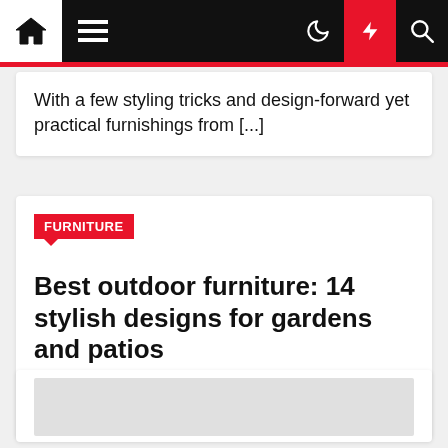Navigation bar with home, menu, moon, lightning, and search icons
With a few styling tricks and design-forward yet practical furnishings from [...]
FURNITURE
Best outdoor furniture: 14 stylish designs for gardens and patios
Frank R. Lugo  2 months ago
[Figure (photo): Placeholder image area for article thumbnail]